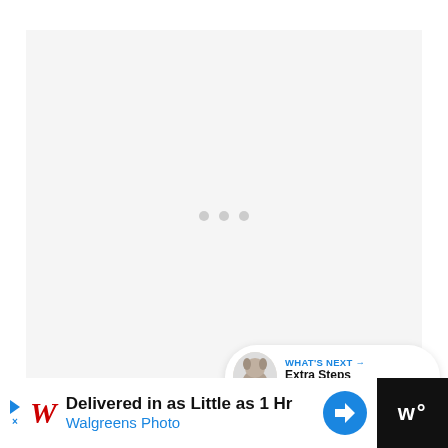[Figure (screenshot): A large light gray content/image placeholder area with three gray loading dots in the center, representing a video or image loading state on a webpage.]
[Figure (infographic): Blue circular like button with a heart icon, showing 19 likes, and a white circular share button with a share/add icon — social media interaction buttons on the right side of the page.]
[Figure (infographic): What's Next card showing a small dog thumbnail image and text: WHAT'S NEXT → Extra Steps You Can Tak...]
[Figure (infographic): Advertisement banner at the bottom: Walgreens Photo ad — 'Delivered in as Little as 1 Hr / Walgreens Photo' with Walgreens cursive logo, navigation arrow icon, and a dark right panel with W° logo.]